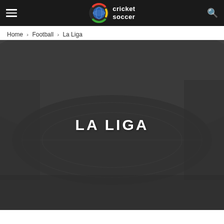Cricket Soccer — navigation bar with hamburger menu and search icon
Home › Football › La Liga
[Figure (screenshot): Dark stadium aerial view background image with semi-transparent overlay, serving as a hero banner for the La Liga category page.]
LA LIGA